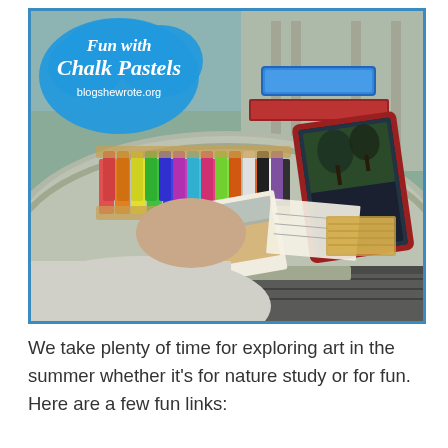[Figure (photo): Photo of a child using chalk pastels at an outdoor table, with colorful chalk pastel sticks laid out, a tablet device propped up showing a reference image, papers and art supplies on a round patio table. Blue cloud-shaped overlay with text 'Fun with Chalk Pastels' and 'blogshewrote.org'.]
We take plenty of time for exploring art in the summer whether it's for nature study or for fun. Here are a few fun links: